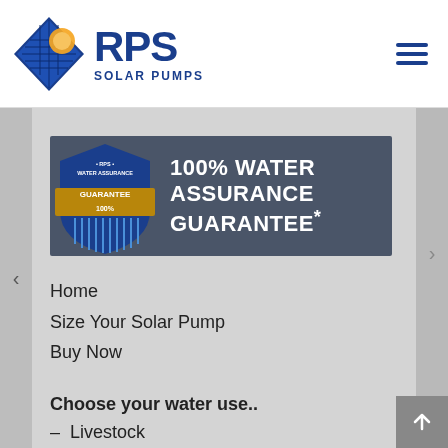[Figure (logo): RPS Solar Pumps logo with blue diamond solar panel graphic and hamburger menu icon]
[Figure (infographic): 100% Water Assurance Guarantee banner with shield badge on dark grey background]
Home
Size Your Solar Pump
Buy Now
Choose your water use..
– Livestock
– Off-Grid Living
– Irrigation